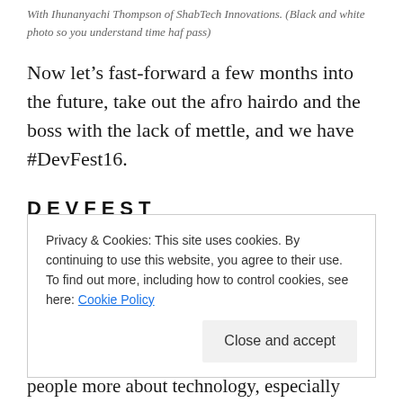With Ihunanyachi Thompson of ShabTech Innovations. (Black and white photo so you understand time haf pass)
Now let’s fast-forward a few months into the future, take out the afro hairdo and the boss with the lack of mettle, and we have #DevFest16.
DEVFEST
Privacy & Cookies: This site uses cookies. By continuing to use this website, you agree to their use.
To find out more, including how to control cookies, see here: Cookie Policy
people more about technology, especially Google